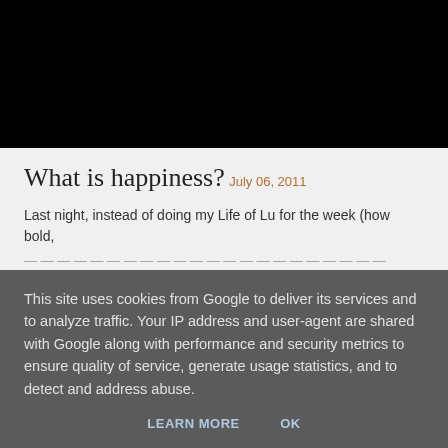[Figure (photo): Black rectangle image placeholder at top of blog post]
What is happiness?
July 06, 2011
Last night, instead of doing my Life of Lu for the week (how bold,
This site uses cookies from Google to deliver its services and to analyze traffic. Your IP address and user-agent are shared with Google along with performance and security metrics to ensure quality of service, generate usage statistics, and to detect and address abuse.
LEARN MORE    OK